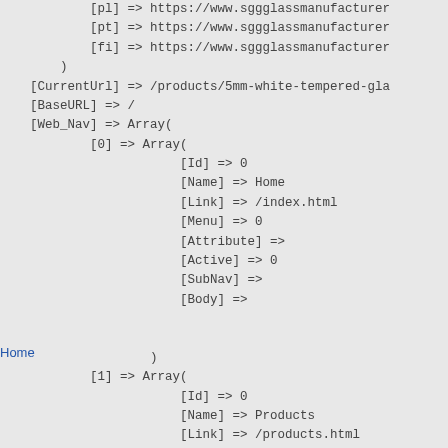[pl] => https://www.sggglassmanufacturer...
            [pt] => https://www.sggglassmanufacturer...
            [fi] => https://www.sggglassmanufacturer...
        )
    [CurrentUrl] => /products/5mm-white-tempered-gla...
    [BaseURL] => /
    [Web_Nav] => Array(
            [0] => Array(
                        [Id] => 0
                        [Name] => Home
                        [Link] => /index.html
                        [Menu] => 0
                        [Attribute] =>
                        [Active] => 0
                        [SubNav] =>
                        [Body] =>
Home

                    )
            [1] => Array(
                        [Id] => 0
                        [Name] => Products
                        [Link] => /products.html
                        [Menu] => 2